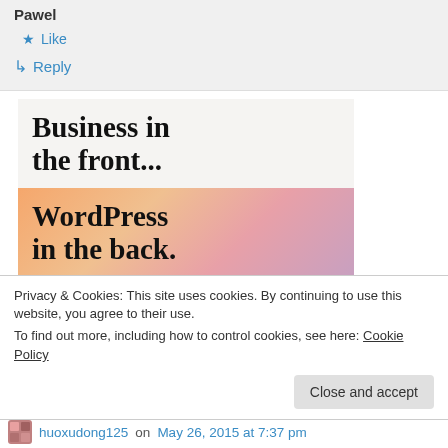Pawel
★ Like
↳ Reply
[Figure (illustration): WordPress advertisement image. Top section on light beige background reads 'Business in the front...' in bold serif font. Bottom section on peach/salmon gradient background reads 'WordPress in the back.' in bold serif font.]
Privacy & Cookies: This site uses cookies. By continuing to use this website, you agree to their use.
To find out more, including how to control cookies, see here: Cookie Policy
Close and accept
huoxudong125 on May 26, 2015 at 7:37 pm